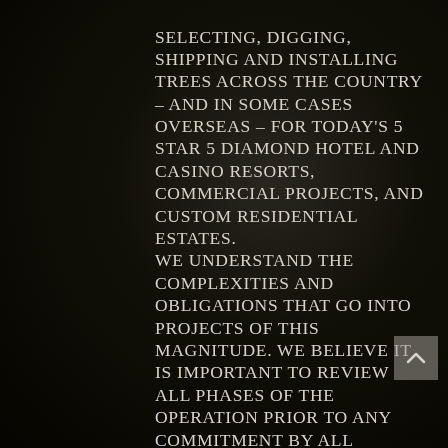selecting, digging, shipping and installing trees across the country – and in some cases overseas – for today's 5 star 5 diamond Hotel and Casino resorts, Commercial projects, and Custom Residential Estates. We understand the complexities and obligations that go into projects of this magnitude. We believe it is important to review all phases of the operation prior to any commitment by all parties, and maintaining open communication throughout the progress of the operation.